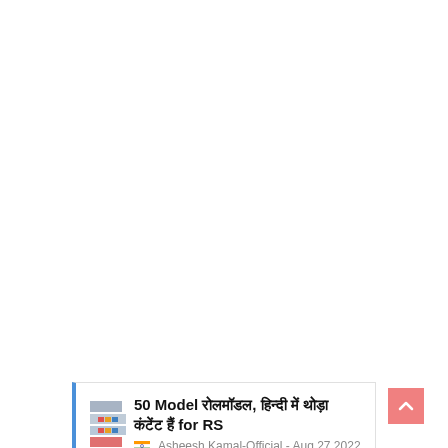[Figure (screenshot): A web page card/list item with a left blue border, a small thumbnail image on the left, bold Hindi and English title text '50 Model ??????, ?????? ?? ??? ??????? ??? for RS', and metadata 'Asheesh Kamal-Official - Aug 27 2022' with a flag icon.]
[Figure (other): A pink/salmon colored back-to-top button with an upward chevron arrow, positioned at the bottom right of the page.]